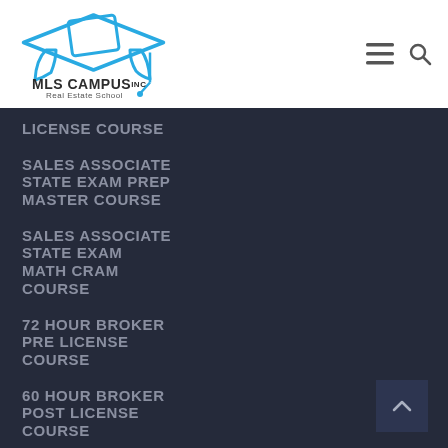[Figure (logo): MLS Campus Inc Real Estate School logo with graduation cap in blue]
LICENSE COURSE
SALES ASSOCIATE STATE EXAM PREP MASTER COURSE
SALES ASSOCIATE STATE EXAM MATH CRAM COURSE
72 HOUR BROKER PRE LICENSE COURSE
60 HOUR BROKER POST LICENSE COURSE
BROKER STATE EXAM PREP MASTER COURSE
BROKER STATE EXAM MATH CRAM COURSE